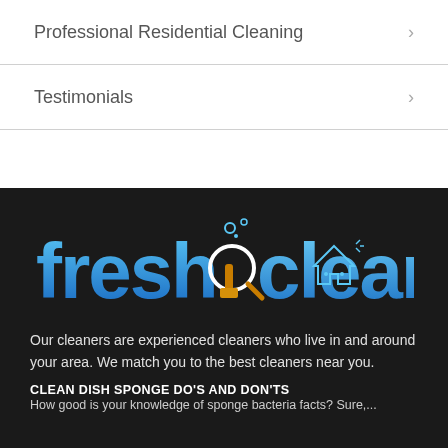Professional Residential Cleaning
Testimonials
[Figure (logo): Fresh Clean company logo in blue gradient text on dark background with cleaning brush and house icons]
Our cleaners are experienced cleaners who live in and around your area. We match you to the best cleaners near you.
CLEAN DISH SPONGE DO'S AND DON'TS
How good is your knowledge of sponge bacteria facts? Sure,...